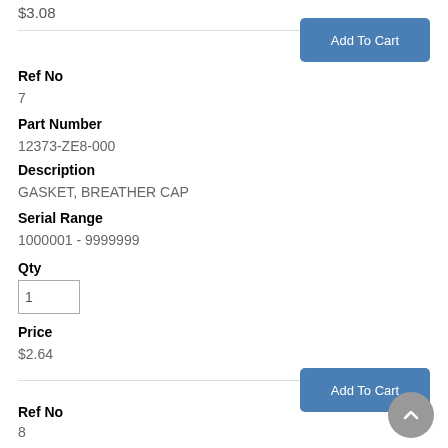$3.08
Add To Cart
Ref No
7
Part Number
12373-ZE8-000
Description
GASKET, BREATHER CAP
Serial Range
1000001 - 9999999
Qty
1
Price
$2.64
Add To Cart
Ref No
8